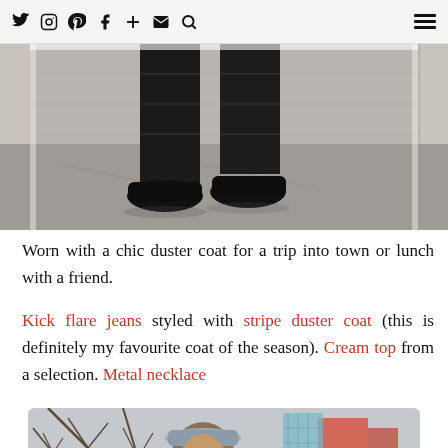Social media icons: Twitter, Instagram, Pinterest, Facebook, Plus, Email, Search | Hamburger menu
[Figure (photo): Bottom portion of a person standing on a pavement, wearing dark trousers and black shoes, against a stone wall background]
Worn with a chic duster coat for a trip into town or lunch with a friend.
Kick flare jeans styled with stripe duster coat (this is definitely my favourite coat of the season). Cream top from a selection. Metal necklace
[Figure (photo): Person wearing a grey bucket hat, outdoors with bare trees and brick building in background]